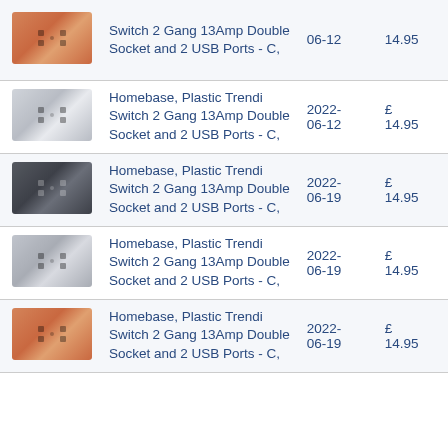| Image | Description | Date | Price |
| --- | --- | --- | --- |
| [copper socket image] | Switch 2 Gang 13Amp Double Socket and 2 USB Ports - C, | 06-12 | 14.95 |
| [white socket image] | Homebase, Plastic Trendi Switch 2 Gang 13Amp Double Socket and 2 USB Ports - C, | 2022-06-12 | £ 14.95 |
| [dark socket image] | Homebase, Plastic Trendi Switch 2 Gang 13Amp Double Socket and 2 USB Ports - C, | 2022-06-19 | £ 14.95 |
| [silver socket image] | Homebase, Plastic Trendi Switch 2 Gang 13Amp Double Socket and 2 USB Ports - C, | 2022-06-19 | £ 14.95 |
| [copper socket image] | Homebase, Plastic Trendi Switch 2 Gang 13Amp Double Socket and 2 USB Ports - C, | 2022-06-19 | £ 14.95 |